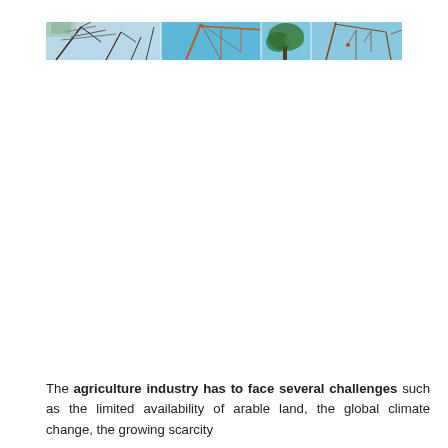[Figure (photo): A horizontal banner composed of multiple photographs showing agricultural and industrial scenes including bare tree branches against sky, construction cranes, and plant structures against blue sky.]
The agriculture industry has to face several challenges such as the limited availability of arable land, the global climate change, the growing scarcity